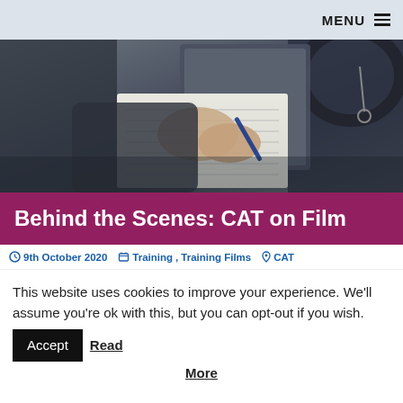MENU ≡
[Figure (photo): A person's hands writing on a notepad with a pen, inside a vehicle, with a clipboard or folder visible in the background. Dark, moody lighting.]
Behind the Scenes: CAT on Film
9th October 2020   Training, Training Films   CAT
This website uses cookies to improve your experience. We'll assume you're ok with this, but you can opt-out if you wish. Accept  Read More